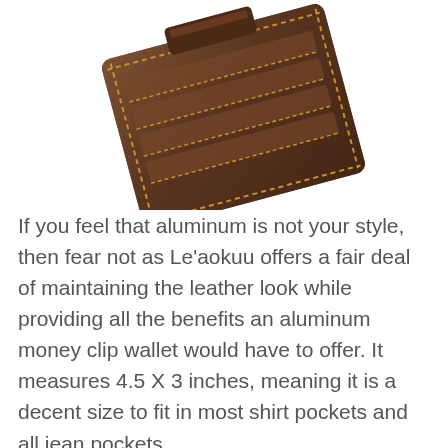[Figure (photo): A brown leather money clip wallet photographed at an angle, showing multiple card slots with tan/gold stitching details, tilted diagonally against a white background.]
If you feel that aluminum is not your style, then fear not as Le'aokuu offers a fair deal of maintaining the leather look while providing all the benefits an aluminum money clip wallet would have to offer. It measures 4.5 X 3 inches, meaning it is a decent size to fit in most shirt pockets and all jean pockets.